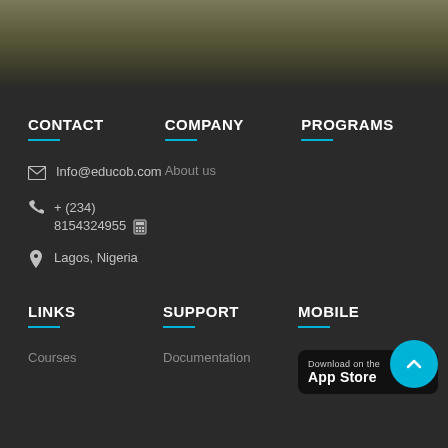[Figure (photo): Blurred outdoor background photo strip at top of page]
CONTACT
COMPANY
PROGRAMS
Info@educob.com
+ (234) 8154324955
Lagos, Nigeria
About us
LINKS
SUPPORT
MOBILE
Courses
Documentation
[Figure (screenshot): Download on the App Store badge]